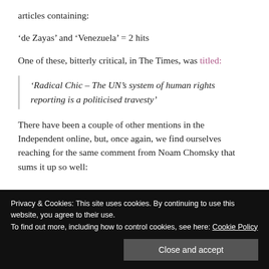articles containing:
‘de Zayas’ and ‘Venezuela’ = 2 hits
One of these, bitterly critical, in The Times, was titled:
‘Radical Chic – The UN’s system of human rights reporting is a politicised travesty’
There have been a couple of other mentions in the Independent online, but, once again, we find ourselves reaching for the same comment from Noam Chomsky that sums it up so well:
Privacy & Cookies: This site uses cookies. By continuing to use this website, you agree to their use.
To find out more, including how to control cookies, see here: Cookie Policy